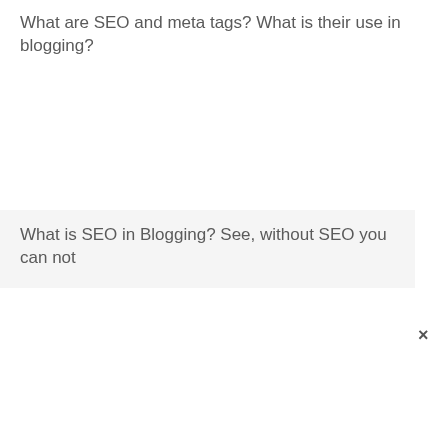What are SEO and meta tags? What is their use in blogging?
What is SEO in Blogging? See, without SEO you can not